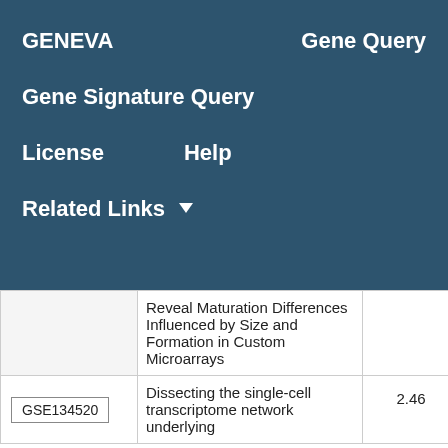GENEVA    Gene Query
Gene Signature Query
License    Help
Related Links ▼
|  | Title | Score |
| --- | --- | --- |
|  | Reveal Maturation Differences Influenced by Size and Formation in Custom Microarrays |  |
| GSE134520 | Dissecting the single-cell transcriptome network underlying | 2.46 |